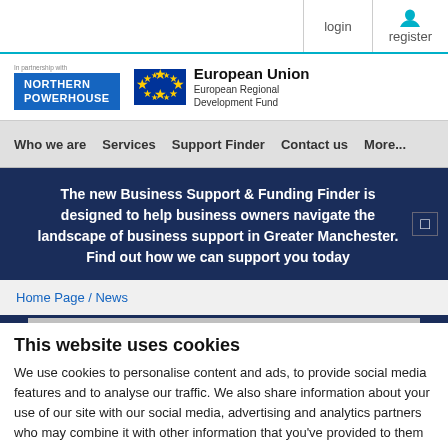login  register
[Figure (logo): Northern Powerhouse logo (in partnership with) and European Union European Regional Development Fund logo]
Who we are  Services  Support Finder  Contact us  More...
The new Business Support & Funding Finder is designed to help business owners navigate the landscape of business support in Greater Manchester. Find out how we can support you today
Home Page / News
This website uses cookies
We use cookies to personalise content and ads, to provide social media features and to analyse our traffic. We also share information about your use of our site with our social media, advertising and analytics partners who may combine it with other information that you've provided to them or that they've